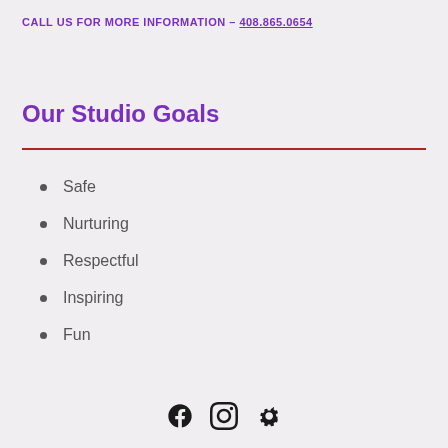CALL US FOR MORE INFORMATION – 408.865.0654
Our Studio Goals
Safe
Nurturing
Respectful
Inspiring
Fun
[Figure (other): Social media icons: Facebook, Instagram, Yelp]